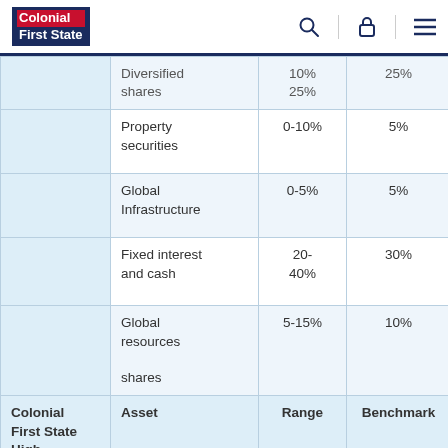Colonial First State
|  | Asset | Range | Benchmark | Asset |
| --- | --- | --- | --- | --- |
|  | Diversified [cut off] | 10% / 25% | 25% | [cut off] |
|  | Property securities | 0-10% | 5% | Property securities [cut off] |
|  | Global Infrastructure | 0-5% | 5% | Global Infrastructure [cut off] |
|  | Fixed interest and cash | 20-40% | 30% | Fixed interest and cash [cut off] |
|  | Global resources shares | 5-15% | 10% | Real Re... [cut off] |
| Colonial First State High | Asset | Range | Benchmark | Asset |
|  | Australian shares [cut off] | 35-45% | 40% | Austra... [cut off] |